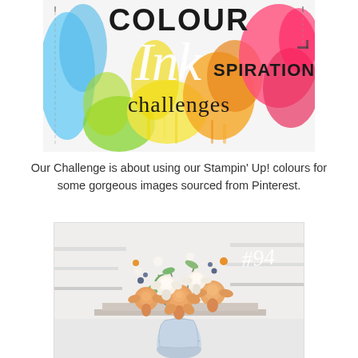[Figure (logo): Colour Inkspiration Challenges logo with colorful paint splash background in rainbow colors — 'COLOUR' in bold black, 'Ink' in large italic script in white, 'SPIRATION' in black, and 'challenges' in black below]
Our Challenge is about using our Stampin' Up! colours for some gorgeous images sourced from Pinterest.
[Figure (photo): Photo of a floral arrangement #94 featuring peach/orange and white roses and flowers in a white vase, displayed on a white surface with shelves in the background]